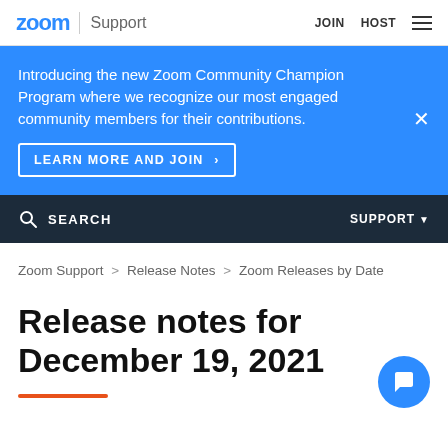zoom | Support    JOIN    HOST
Introducing the new Zoom Community Champion Program where we recognize our most engaged community members for their contributions.
LEARN MORE AND JOIN >
SEARCH    SUPPORT
Zoom Support > Release Notes > Zoom Releases by Date
Release notes for December 19, 2021